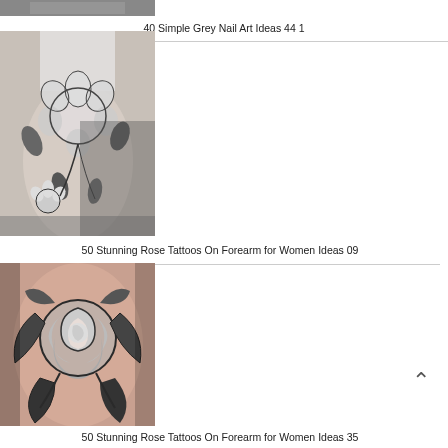[Figure (photo): Partial view of a tattoo image at top of page (cropped)]
40 Simple Grey Nail Art Ideas 44 1
[Figure (photo): Black and grey floral tattoo on a woman's forearm, featuring roses and small flowers with leaves]
50 Stunning Rose Tattoos On Forearm for Women Ideas 09
[Figure (photo): Large black and grey rose tattoo on a forearm with detailed shading and leaves]
50 Stunning Rose Tattoos On Forearm for Women Ideas 35